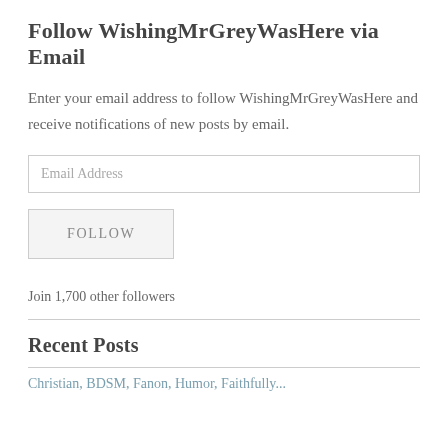Follow WishingMrGreyWasHere via Email
Enter your email address to follow WishingMrGreyWasHere and receive notifications of new posts by email.
Email Address
FOLLOW
Join 1,700 other followers
Recent Posts
Christian, BDSM, Fanon, Humor, Faithfully...